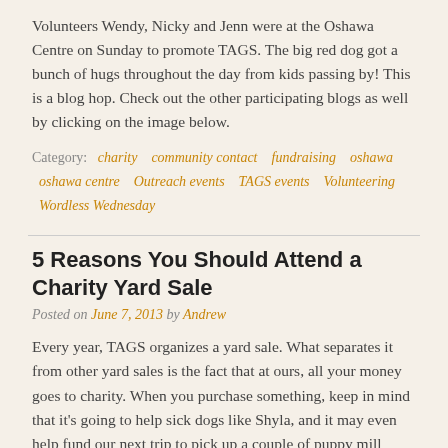Volunteers Wendy, Nicky and Jenn were at the Oshawa Centre on Sunday to promote TAGS. The big red dog got a bunch of hugs throughout the day from kids passing by! This is a blog hop. Check out the other participating blogs as well by clicking on the image below.
Category: charity  community contact  fundraising  oshawa  oshawa centre  Outreach events  TAGS events  Volunteering  Wordless Wednesday
5 Reasons You Should Attend a Charity Yard Sale
Posted on June 7, 2013 by Andrew
Every year, TAGS organizes a yard sale. What separates it from other yard sales is the fact that at ours, all your money goes to charity. When you purchase something, keep in mind that it's going to help sick dogs like Shyla, and it may even help fund our next trip to pick up a couple of puppy mill dogs. Everybody wins here–you get
Read More »